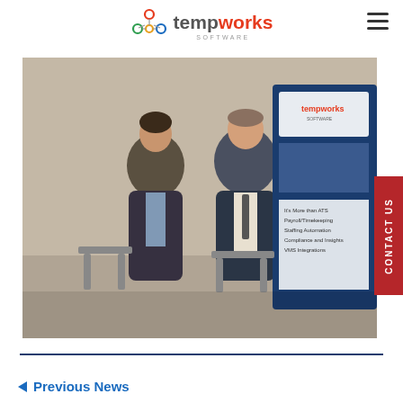tempworks SOFTWARE
[Figure (photo): Two men in business attire standing in front of a TempWorks Software banner/roll-up display at a conference or event.]
CONTACT US
< Previous News